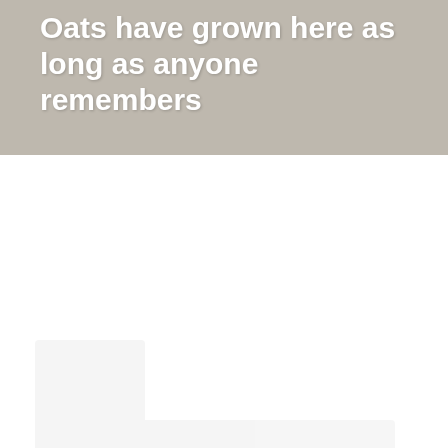[Figure (photo): Background photo of an oat field or farm landscape, appearing faded/washed out in light gray tones. White bold text overlaid reading 'Oats have grown here as long as anyone remembers'.]
Oats have grown here as long as anyone remembers